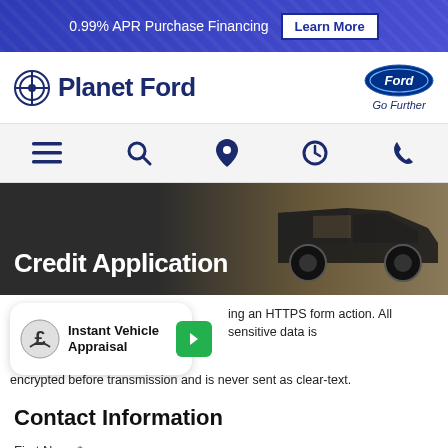0.99% APR Purchase Financing  Learn More
[Figure (logo): Planet Ford logo with circular icon and Ford oval logo with 'Go Further' tagline]
[Figure (infographic): Navigation bar with hamburger menu, search, location pin, clock, and phone icons]
[Figure (photo): Hero banner showing a dark Ford pickup truck on a dusty road with Credit Application text overlay]
Credit Application
[Figure (infographic): Instant Vehicle Appraisal widget card with icon and green arrow button]
ing an HTTPS form action. All sensitive data is encrypted before transmission and is never sent as clear-text.
Contact Information
First Name*